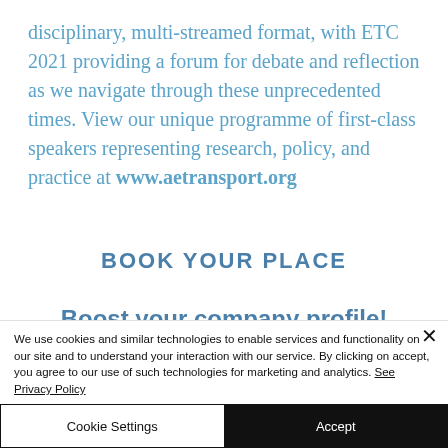disciplinary, multi-streamed format, with ETC 2021 providing a forum for debate and reflection as we navigate through these unprecedented times. View our unique programme of first-class speakers representing research, policy, and practice at www.aetransport.org
BOOK YOUR PLACE
Boost your company profile!
We use cookies and similar technologies to enable services and functionality on our site and to understand your interaction with our service. By clicking on accept, you agree to our use of such technologies for marketing and analytics. See Privacy Policy